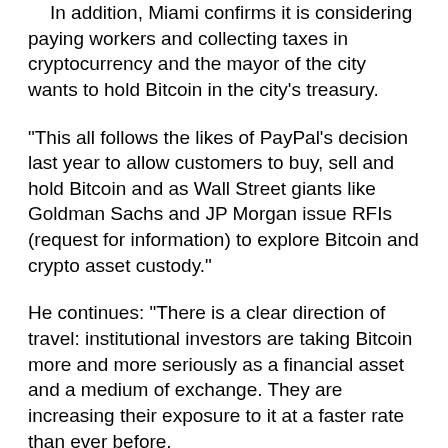In addition, Miami confirms it is considering paying workers and collecting taxes in cryptocurrency and the mayor of the city wants to hold Bitcoin in the city's treasury.
"This all follows the likes of PayPal's decision last year to allow customers to buy, sell and hold Bitcoin and as Wall Street giants like Goldman Sachs and JP Morgan issue RFIs (request for information) to explore Bitcoin and crypto asset custody."
He continues: "There is a clear direction of travel: institutional investors are taking Bitcoin more and more seriously as a financial asset and a medium of exchange. They are increasing their exposure to it at a faster rate than ever before.